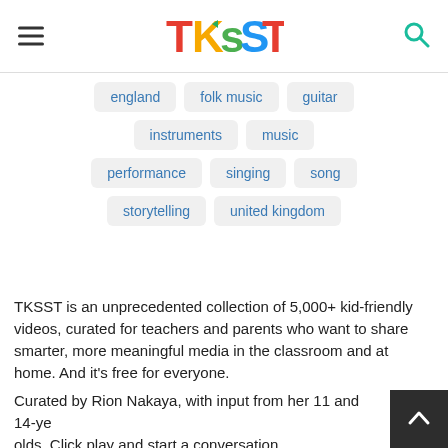TKSST
england
folk music
guitar
instruments
music
performance
singing
song
storytelling
united kingdom
TKSST is an unprecedented collection of 5,000+ kid-friendly videos, curated for teachers and parents who want to share smarter, more meaningful media in the classroom and at home. And it's free for everyone.
Curated by Rion Nakaya, with input from her 11 and 14-year-olds. Click play and start a conversation.